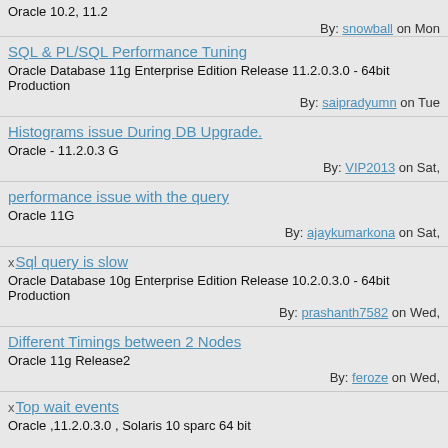Oracle 10.2, 11.2
By: snowball on Mon
SQL & PL/SQL Performance Tuning
Oracle Database 11g Enterprise Edition Release 11.2.0.3.0 - 64bit Production
By: saipradyumn on Tue
Histograms issue During DB Upgrade.
Oracle - 11.2.0.3 G
By: VIP2013 on Sat,
performance issue with the query
Oracle 11G
By: ajaykumarkona on Sat,
Sql query is slow
Oracle Database 10g Enterprise Edition Release 10.2.0.3.0 - 64bit Production
By: prashanth7582 on Wed,
Different Timings between 2 Nodes
Oracle 11g Release2
By: feroze on Wed,
Top wait events
Oracle ,11.2.0.3.0 , Solaris 10 sparc 64 bit